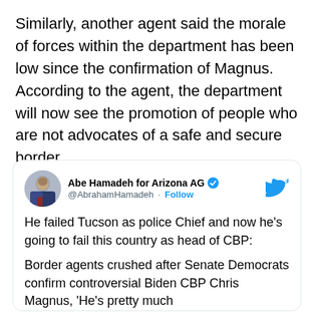Similarly, another agent said the morale of forces within the department has been low since the confirmation of Magnus. According to the agent, the department will now see the promotion of people who are not advocates of a safe and secure border.
[Figure (screenshot): Embedded tweet from @AbrahamHamadeh (Abe Hamadeh for Arizona AG) with verified badge and Follow button. Tweet text: 'He failed Tucson as police Chief and now he's going to fail this country as head of CBP: Border agents crushed after Senate Democrats confirm controversial Biden CBP Chris Magnus, "He's pretty much']